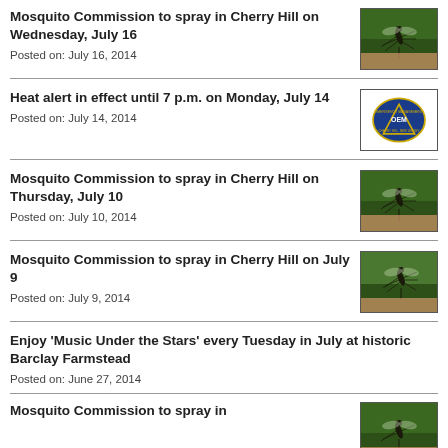Mosquito Commission to spray in Cherry Hill on Wednesday, July 16
Posted on: July 16, 2014
Heat alert in effect until 7 p.m. on Monday, July 14
Posted on: July 14, 2014
Mosquito Commission to spray in Cherry Hill on Thursday, July 10
Posted on: July 10, 2014
Mosquito Commission to spray in Cherry Hill on July 9
Posted on: July 9, 2014
Enjoy 'Music Under the Stars' every Tuesday in July at historic Barclay Farmstead
Posted on: June 27, 2014
Mosquito Commission to spray in